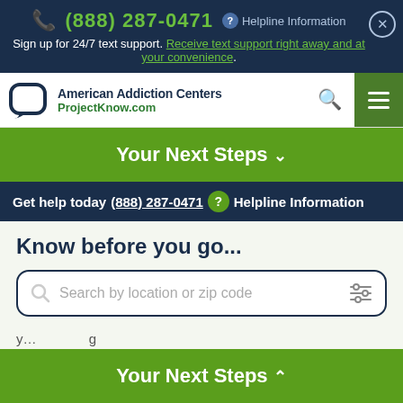(888) 287-0471  Helpline Information
Sign up for 24/7 text support. Receive text support right away and at your convenience.
[Figure (logo): American Addiction Centers - ProjectKnow.com logo with speech bubble icon]
Your Next Steps ∨
Get help today (888) 287-0471 ? Helpline Information
Know before you go...
Search by location or zip code
Not sure you need treatment? Take the drug assessment test now.
Your Next Steps ∧